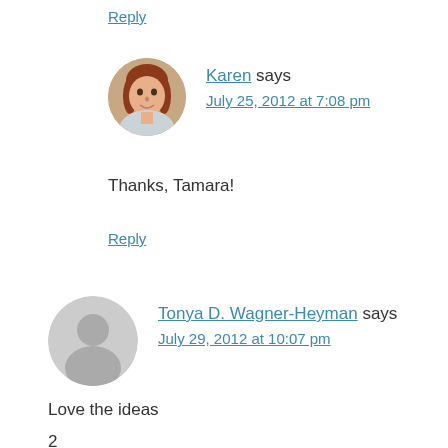Reply
[Figure (photo): Circular avatar photo of Karen, a woman with reddish-brown hair]
Karen says
July 25, 2012 at 7:08 pm
Thanks, Tamara!
Reply
[Figure (illustration): Generic gray circular avatar placeholder with person silhouette]
Tonya D. Wagner-Heyman says
July 29, 2012 at 10:07 pm
Love the ideas
2